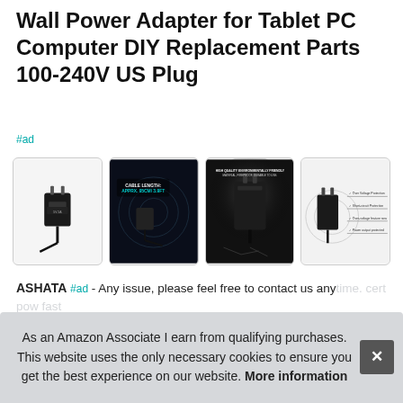Wall Power Adapter for Tablet PC Computer DIY Replacement Parts 100-240V US Plug
#ad
[Figure (photo): Four product images of a wall power adapter shown in a horizontal row. First image shows adapter device on white background, second shows cable length info on dark background, third shows adapter on dark dramatic background, fourth shows adapter with features listed on white background.]
ASHATA #ad - Any issue, please feel free to contact us anytime. cert pow fast
As an Amazon Associate I earn from qualifying purchases. This website uses the only necessary cookies to ensure you get the best experience on our website. More information